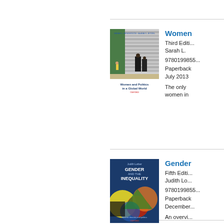Women and Politics in a Global World
Third Edition
Sarah L.
9780199855... Paperback July 2013
The only ... women in...
[Figure (illustration): Book cover: Women and Politics in a Global World]
Gender Inequality
Fifth Edition
Judith Lo...
9780199855... Paperback December...
An overvi...
[Figure (illustration): Book cover: Gender Inequality]